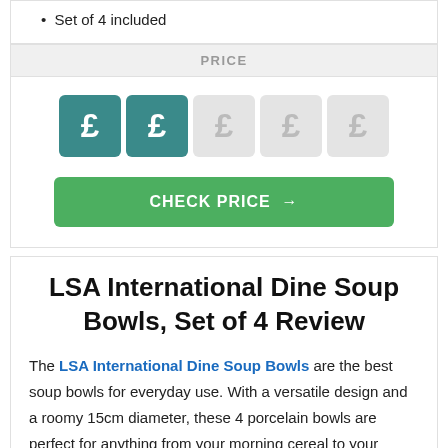Set of 4 included
PRICE
[Figure (infographic): Five pound sign (£) icons in a row; first two are teal/active, last three are grey/inactive, representing a price rating of 2 out of 5.]
CHECK PRICE →
LSA International Dine Soup Bowls, Set of 4 Review
The LSA International Dine Soup Bowls are the best soup bowls for everyday use. With a versatile design and a roomy 15cm diameter, these 4 porcelain bowls are perfect for anything from your morning cereal to your homemade